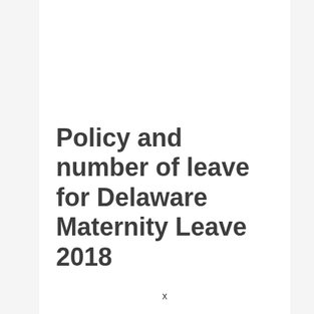Policy and number of leave for Delaware Maternity Leave 2018